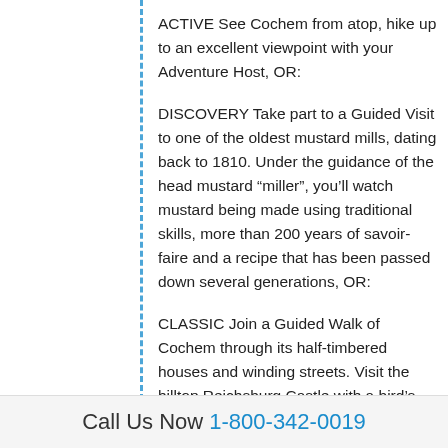ACTIVE See Cochem from atop, hike up to an excellent viewpoint with your Adventure Host, OR:
DISCOVERY Take part to a Guided Visit to one of the oldest mustard mills, dating back to 1810. Under the guidance of the head mustard “miller”, you’ll watch mustard being made using traditional skills, more than 200 years of savoir-faire and a recipe that has been passed down several generations, OR:
CLASSIC Join a Guided Walk of Cochem through its half-timbered houses and winding streets. Visit the hilltop Reichsburg Castle with a bird’s-eye-view of the Moselle Valley.
Relax on board on the Sky Deck while sailing through the Moselle Valley, famous for the beautiful
Call Us Now 1-800-342-0019